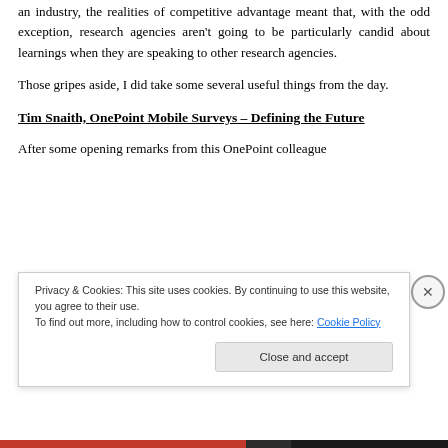an industry, the realities of competitive advantage meant that, with the odd exception, research agencies aren't going to be particularly candid about learnings when they are speaking to other research agencies.
Those gripes aside, I did take some several useful things from the day.
Tim Snaith, OnePoint Mobile Surveys – Defining the Future
After some opening remarks from this OnePoint colleague
Privacy & Cookies: This site uses cookies. By continuing to use this website, you agree to their use.
To find out more, including how to control cookies, see here: Cookie Policy